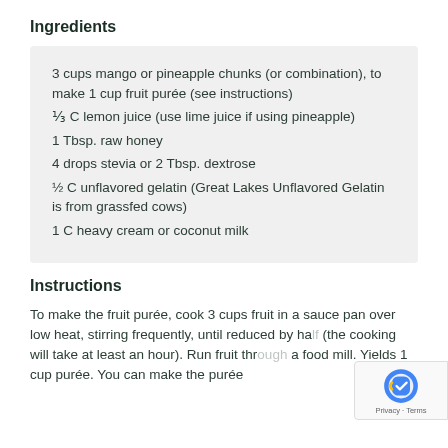Ingredients
3 cups mango or pineapple chunks (or combination), to make 1 cup fruit purée (see instructions)
⅓ C lemon juice (use lime juice if using pineapple)
1 Tbsp. raw honey
4 drops stevia or 2 Tbsp. dextrose
½ C unflavored gelatin (Great Lakes Unflavored Gelatin is from grassfed cows)
1 C heavy cream or coconut milk
Instructions
To make the fruit purée, cook 3 cups fruit in a sauce pan over low heat, stirring frequently, until reduced by half (the cooking will take at least an hour).  Run fruit through a food mill. Yields 1 cup purée.  You can make the purée